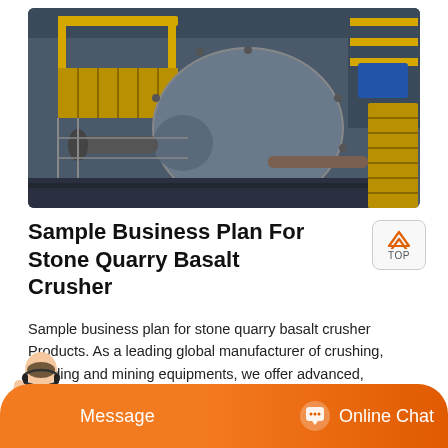[Figure (photo): Industrial ball mill / grinding machine in a factory setting with yellow metal railings and stairs, large cylindrical drum, pipes, and overhead structure]
Sample Business Plan For Stone Quarry Basalt Crusher
Sample business plan for stone quarry basalt crusher Products. As a leading global manufacturer of crushing, grinding and mining equipments, we offer advanced, reasonable solutions for any size-reduction requirements including, Sample business plan for stone quarry basalt crusher, quarry, aggregate, and different kinds of…